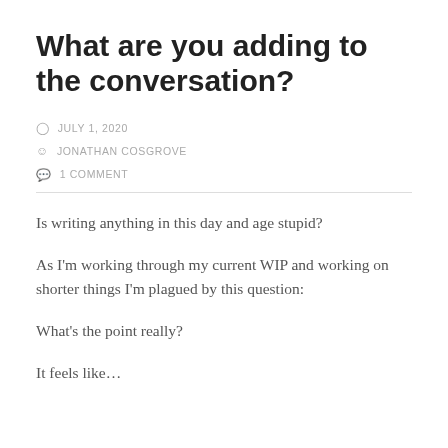What are you adding to the conversation?
JULY 1, 2020
JONATHAN COSGROVE
1 COMMENT
Is writing anything in this day and age stupid?
As I'm working through my current WIP and working on shorter things I'm plagued by this question:
What's the point really?
It feels like…